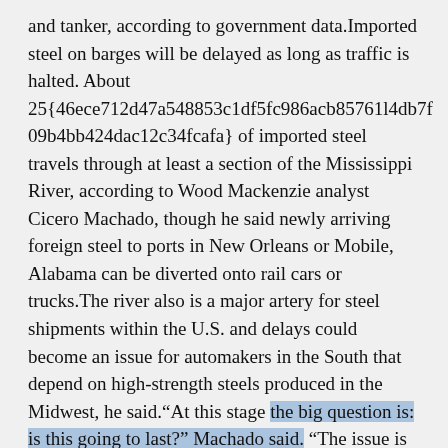and tanker, according to government data.Imported steel on barges will be delayed as long as traffic is halted. About 25{46ece712d47a548853c1df5fc986acb85761l4db7f09b4bb424dac12c34fcafa} of imported steel travels through at least a section of the Mississippi River, according to Wood Mackenzie analyst Cicero Machado, though he said newly arriving foreign steel to ports in New Orleans or Mobile, Alabama can be diverted onto rail cars or trucks.The river also is a major artery for steel shipments within the U.S. and delays could become an issue for automakers in the South that depend on high-strength steels produced in the Midwest, he said.“At this stage the big question is: is this going to last?” Machado said. “The issue is not actually in the river, it’s in a bridge over the river — so perhaps they’re going to find a way to manage the traffic there.”(Adds Coast Guard